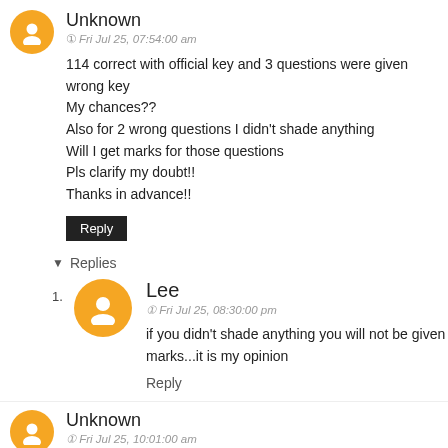Unknown
Fri Jul 25, 07:54:00 am
114 correct with official key and 3 questions were given wrong key
My chances??
Also for 2 wrong questions I didn't shade anything
Will I get marks for those questions
Pls clarify my doubt!!
Thanks in advance!!
Reply
Replies
Lee
Fri Jul 25, 08:30:00 pm
if you didn't shade anything you will not be given marks...it is my opinion
Reply
Unknown
Fri Jul 25, 10:01:00 am